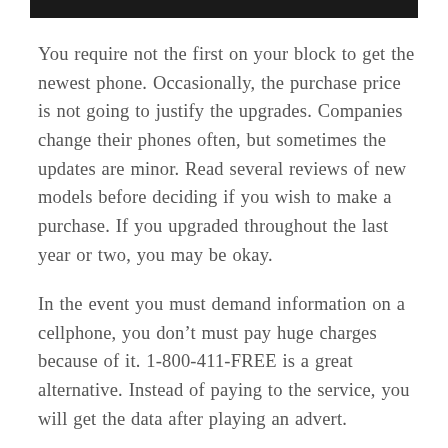You require not the first on your block to get the newest phone. Occasionally, the purchase price is not going to justify the upgrades. Companies change their phones often, but sometimes the updates are minor. Read several reviews of new models before deciding if you wish to make a purchase. If you upgraded throughout the last year or two, you may be okay.
In the event you must demand information on a cellphone, you don’t must pay huge charges because of it. 1-800-411-FREE is a great alternative. Instead of paying to the service, you will get the data after playing an advert.